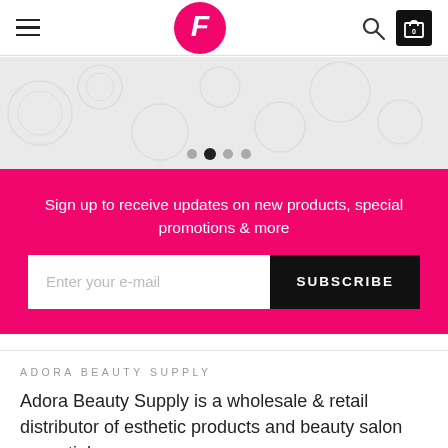[Figure (logo): Pink circle logo with white stylized 'F' letter for Adora Beauty Supply website header]
[Figure (screenshot): E-commerce website header with hamburger menu, centered pink logo, search icon, and cart icon showing 0 items]
[Figure (infographic): Gray decorative banner/carousel area with four navigation dots, second dot active/filled]
Sign up to receive updates on new products, special promotions & more
Enter your e-mail
SUBSCRIBE
ADORA BEAUTY SUPPLY
Adora Beauty Supply is a wholesale & retail distributor of esthetic products and beauty salon essentials.